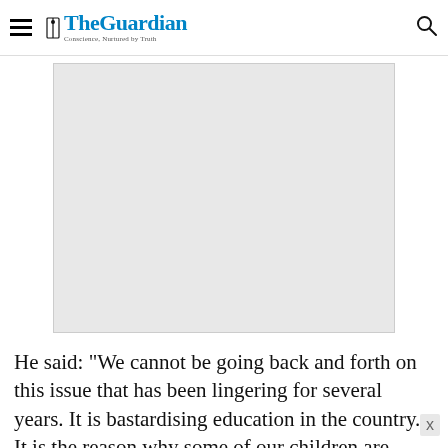The Guardian — Conscience, Nurtured by Truth
[Figure (photo): Photograph placeholder (light grey rectangle) associated with the article about education and academic standards]
He said: “We cannot be going back and forth on this issue that has been lingering for several years. It is bastardising education in the country. It is the reason why some of our children are seeking hig